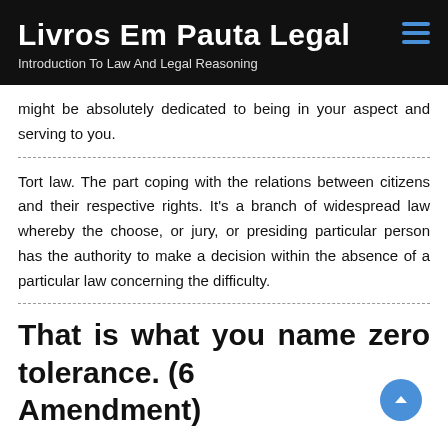Livros Em Pauta Legal
Introduction To Law And Legal Reasoning
might be absolutely dedicated to being in your aspect and serving to you.
Tort law. The part coping with the relations between citizens and their respective rights. It's a branch of widespread law whereby the choose, or jury, or presiding particular person has the authority to make a decision within the absence of a particular law concerning the difficulty.
That is what you name zero tolerance. (6 Amendment)